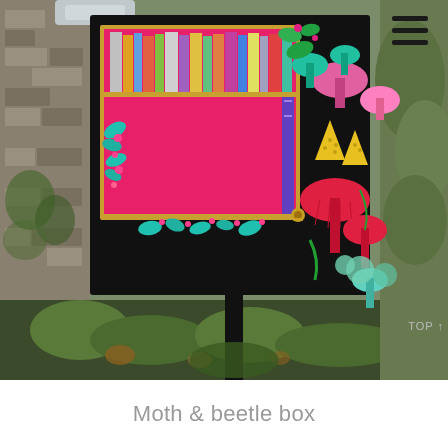[Figure (photo): A decorative free little library box on a post, painted black with colorful mushroom and botanical illustrations in pink, teal, yellow, red, and green. The box is open showing a bright pink interior with books on the shelf. The box is set against a stone wall with greenery in the background.]
Moth & beetle box